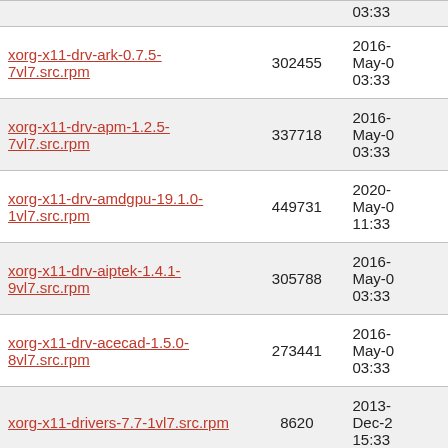| Name | Size | Date |
| --- | --- | --- |
|  |  | 03:33 |
| xorg-x11-drv-ark-0.7.5-7vl7.src.rpm | 302455 | 2016-May-0 03:33 |
| xorg-x11-drv-apm-1.2.5-7vl7.src.rpm | 337718 | 2016-May-0 03:33 |
| xorg-x11-drv-amdgpu-19.1.0-1vl7.src.rpm | 449731 | 2020-May-0 11:33 |
| xorg-x11-drv-aiptek-1.4.1-9vl7.src.rpm | 305788 | 2016-May-0 03:33 |
| xorg-x11-drv-acecad-1.5.0-8vl7.src.rpm | 273441 | 2016-May-0 03:33 |
| xorg-x11-drivers-7.7-1vl7.src.rpm | 8620 | 2013-Dec-2 15:33 |
| xorg-x11-devel-7.7-1vl7.src.rpm | 2839 | 2013-Dec-2 15:33 |
|  |  | 2015- |